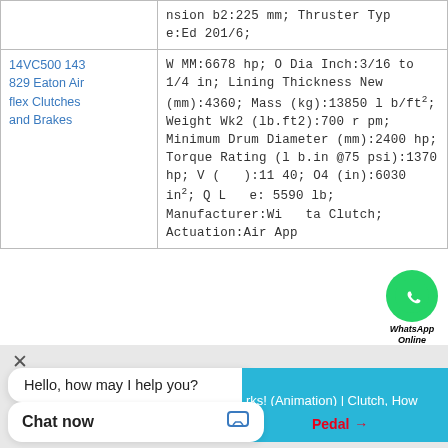| Product | Specifications |
| --- | --- |
| (partial) ... | nsion b2:225 mm; Thruster Type:Ed 201/6; |
| 14VC500 143 829 Eaton Air flex Clutches and Brakes | W MM:6678 hp; O Dia Inch:3/16 to 1/4 in; Lining Thickness New (mm):4360; Mass (kg):13850 lb/ft²; Weight Wk2 (lb.ft2):700 rpm; Minimum Drum Diameter (mm):2400 hp; Torque Rating (lb.in @75 psi):1370 hp; V (...):1140; O4 (in):6030 in²; Q L..e:5590 lb; Manufacturer:Wichita Clutch; Actuation:Air Applied |
[Figure (screenshot): WhatsApp Online badge overlay with green circle phone icon and 'WhatsApp Online' italic text]
Hello, how may I help you?
[Figure (screenshot): Video thumbnail strip showing 'rks! (Animation) | Clutch, How' text on blue background]
Chat now